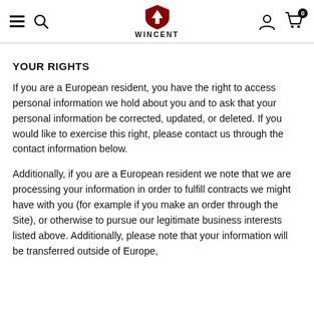WINCENT
YOUR RIGHTS
If you are a European resident, you have the right to access personal information we hold about you and to ask that your personal information be corrected, updated, or deleted. If you would like to exercise this right, please contact us through the contact information below.
Additionally, if you are a European resident we note that we are processing your information in order to fulfill contracts we might have with you (for example if you make an order through the Site), or otherwise to pursue our legitimate business interests listed above. Additionally, please note that your information will be transferred outside of Europe,